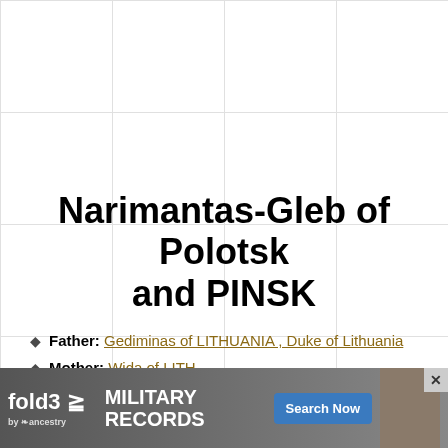Narimantas-Gleb of Polotsk and PINSK
Father: Gediminas of LITHUANIA , Duke of Lithuania
Mother: Wida of LITH
Death: 1348
Partnership with: (Unknown)
[Figure (screenshot): fold3 by Ancestry advertisement banner for Military Records with Search Now button and soldier photo]